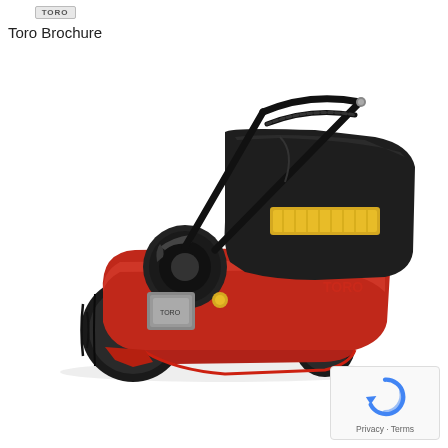Toro Brochure
[Figure (photo): A red Toro self-propelled walk-behind lawn mower with black grass catcher bag, black handlebar, and large rear wheels, photographed on a white background at a 3/4 angle.]
[Figure (logo): reCAPTCHA icon (circular arrow logo) with text 'Privacy · Terms' below it]